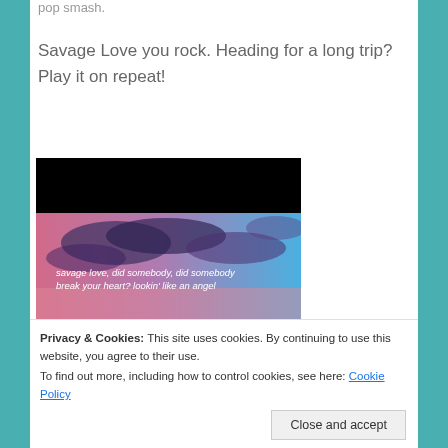pop smash.
Savage Love you rock. Heading for a long trip? Play it on repeat!
[Figure (screenshot): Video thumbnail showing a pink and blue sky with clouds and lyrics text: 'savage love, did somebody, did somebody break your heart? lookin' like an angel']
Privacy & Cookies: This site uses cookies. By continuing to use this website, you agree to their use.
To find out more, including how to control cookies, see here: Cookie Policy
Close and accept